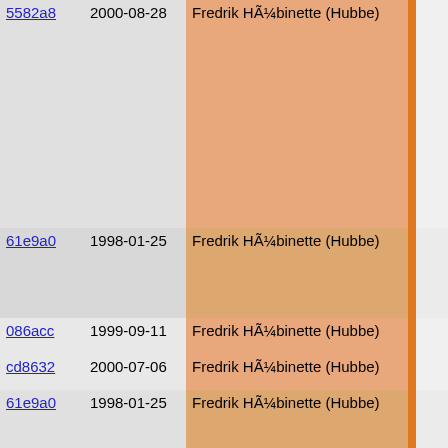| hash | date | author |  | code |
| --- | --- | --- | --- | --- |
| 5582a8 | 2000-08-28 | Fredrik HÃ¼binette (Hubbe) |  | low_ |
| 61e9a0 | 1998-01-25 | Fredrik HÃ¼binette (Hubbe) |  | brea
defaul |
| 086acc | 1999-09-11 | Fredrik HÃ¼binette (Hubbe) |  | reso |
| cd8632 | 2000-07-06 | Fredrik HÃ¼binette (Hubbe) |  | do_i |
| 61e9a0 | 1998-01-25 | Fredrik HÃ¼binette (Hubbe) |  | pop_
}
} |
| 27ae84 | 2000-02-07 | Per Hedbor |  |  |
| 61e9a0 | 1998-01-25 | Fredrik HÃ¼binette (Hubbe) |  |  |
| b1f4eb | 1998-01-13 | Fredrik HÃ¼binette (Hubbe) |  | void simpl |
| 5267b7 | 1995-08-09 | Fredrik HÃ¼binette (Hubbe) |  | {
referenc
push_str |
| b1f4eb | 1998-01-13 | Fredrik HÃ¼binette (Hubbe) |  | ref_push |